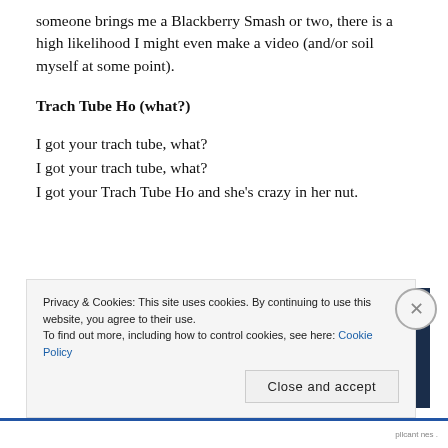someone brings me a Blackberry Smash or two, there is a high likelihood I might even make a video (and/or soil myself at some point).
Trach Tube Ho (what?)
I got your trach tube, what?
I got your trach tube, what?
I got your Trach Tube Ho and she’s crazy in her nut.
[Figure (photo): Photo of hands playing guitar on left half, dark navy background with white rectangle outline on right half]
Privacy & Cookies: This site uses cookies. By continuing to use this website, you agree to their use.
To find out more, including how to control cookies, see here: Cookie Policy
Close and accept